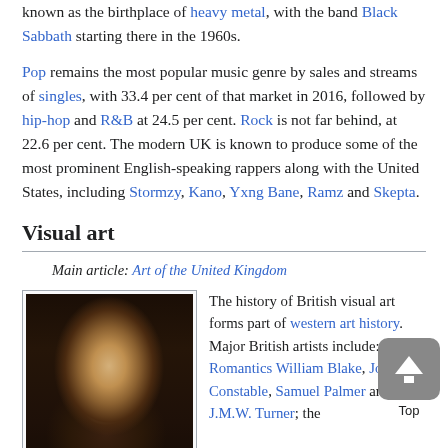known as the birthplace of heavy metal, with the band Black Sabbath starting there in the 1960s.
Pop remains the most popular music genre by sales and streams of singles, with 33.4 per cent of that market in 2016, followed by hip-hop and R&B at 24.5 per cent. Rock is not far behind, at 22.6 per cent. The modern UK is known to produce some of the most prominent English-speaking rappers along with the United States, including Stormzy, Kano, Yxng Bane, Ramz and Skepta.
Visual art
Main article: Art of the United Kingdom
[Figure (photo): Portrait painting of a young man with blond hair, likely J.M.W. Turner, oil on canvas, dark background]
The history of British visual art forms part of western art history. Major British artists include: the Romantics William Blake, John Constable, Samuel Palmer and J.M.W. Turner; the